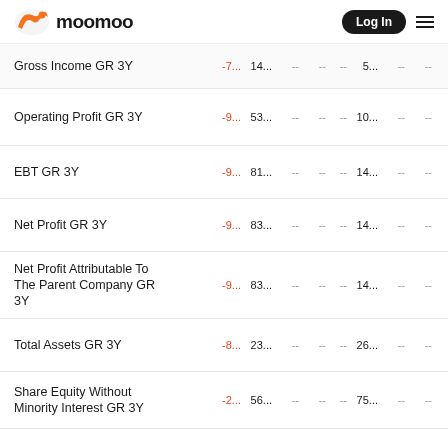moomoo | Log In
| Metric | Col1 | Col2 | Col3 | Col4 | Col5 | Col6 | Col7 | Col8 |
| --- | --- | --- | --- | --- | --- | --- | --- | --- |
| Gross Income GR 3Y | -7... | 14... | -- | -- | -- | 5... | -- | -- |
| Operating Profit GR 3Y | -9... | 53... | -- | -- | -- | 10... | -- | -- |
| EBT GR 3Y | -9... | 81... | -- | -- | -- | 14... | -- | -- |
| Net Profit GR 3Y | -9... | 83... | -- | -- | -- | 14... | -- | -- |
| Net Profit Attributable To The Parent Company GR 3Y | -9... | 83... | -- | -- | -- | 14... | -- | -- |
| Total Assets GR 3Y | -8... | 23... | -- | -- | -- | 26... | -- | -- |
| Share Equity Without Minority Interest GR 3Y | -2... | 56... | -- | -- | -- | 75... | -- | -- |
| Equity GR 3Y | -2... | 56... | -- | -- | -- | 75... | -- | -- |